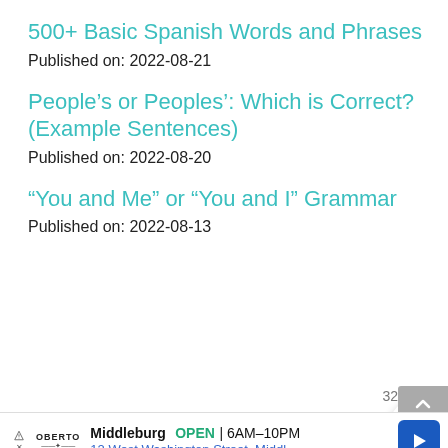500+ Basic Spanish Words and Phrases
Published on: 2022-08-21
People’s or Peoples’: Which is Correct? (Example Sentences)
Published on: 2022-08-20
“You and Me” or “You and I” Grammar
Published on: 2022-08-13
32
Middleburg OPEN | 6AM–10PM 12 West Washington Street, Middl...